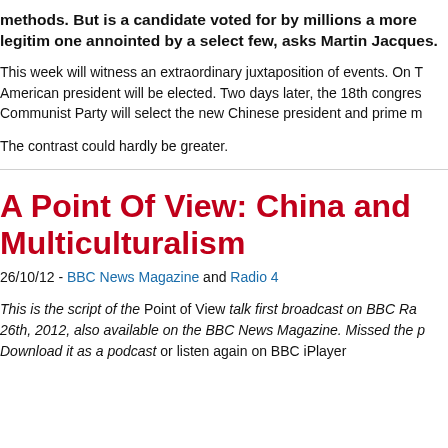methods. But is a candidate voted for by millions a more legitimate one annointed by a select few, asks Martin Jacques.
This week will witness an extraordinary juxtaposition of events. On T American president will be elected. Two days later, the 18th congres Communist Party will select the new Chinese president and prime m
The contrast could hardly be greater.
A Point Of View: China and Multiculturalism
26/10/12 - BBC News Magazine and Radio 4
This is the script of the Point of View talk first broadcast on BBC Ra 26th, 2012, also available on the BBC News Magazine. Missed the p Download it as a podcast or listen again on BBC iPlayer